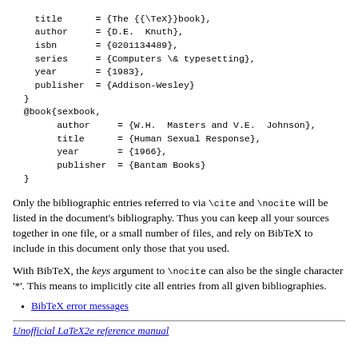title = {The {{\TeX}}book},
  author = {D.E. Knuth},
  isbn = {0201134489},
  series = {Computers \& typesetting},
  year = {1983},
  publisher = {Addison-Wesley}
}
@book{sexbook,
  author = {W.H. Masters and V.E. Johnson},
  title = {Human Sexual Response},
  year = {1966},
  publisher = {Bantam Books}
}
Only the bibliographic entries referred to via \cite and \nocite will be listed in the document’s bibliography. Thus you can keep all your sources together in one file, or a small number of files, and rely on BibTeX to include in this document only those that you used.
With BibTeX, the keys argument to \nocite can also be the single character ‘*’. This means to implicitly cite all entries from all given bibliographies.
BibTeX error messages
Unofficial LaTeX2e reference manual